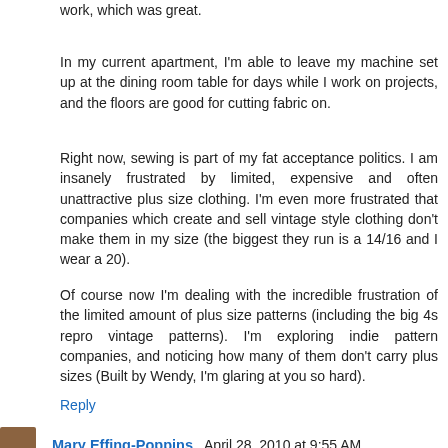work, which was great.
In my current apartment, I'm able to leave my machine set up at the dining room table for days while I work on projects, and the floors are good for cutting fabric on.
Right now, sewing is part of my fat acceptance politics. I am insanely frustrated by limited, expensive and often unattractive plus size clothing. I'm even more frustrated that companies which create and sell vintage style clothing don't make them in my size (the biggest they run is a 14/16 and I wear a 20).
Of course now I'm dealing with the incredible frustration of the limited amount of plus size patterns (including the big 4s repro vintage patterns). I'm exploring indie pattern companies, and noticing how many of them don't carry plus sizes (Built by Wendy, I'm glaring at you so hard).
Reply
Mary Effing-Poppins   April 28, 2010 at 9:55 AM